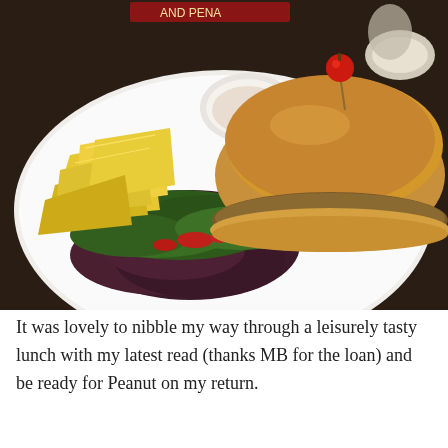[Figure (photo): A plate of food on a restaurant table featuring a veggie burger on a brioche bun topped with a red cherry pepper on a toothpick, served with tortilla chips, a small bowl of dipping sauce with red pepper flakes, and a mixed green salad with arugula and red peppers. The plate is white and the table surface is dark brown.]
It was lovely to nibble my way through a leisurely tasty lunch with my latest read (thanks MB for the loan) and be ready for Peanut on my return.